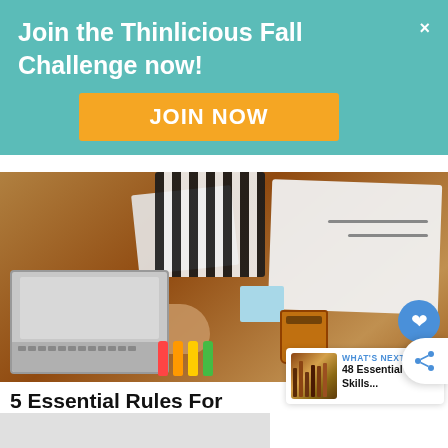Join the Thinlicious Fall Challenge now!
JOIN NOW
[Figure (photo): Overhead view of a person in a striped top working at a desk with a laptop, papers, coffee cup, and markers]
5 Essential Rules For Starting Your Own Business
258
WHAT'S NEXT → 48 Essential Life Skills...